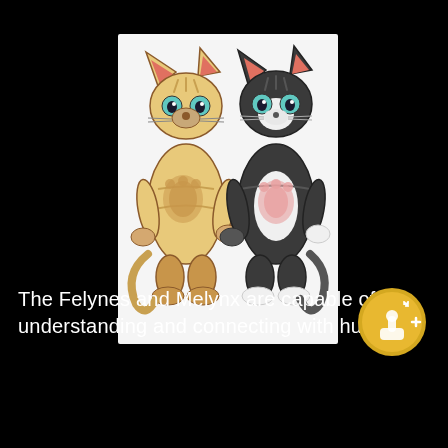[Figure (illustration): Two anthropomorphic cartoon cat characters standing upright side by side against a white background. The left cat is tan/yellow with brown stripes and paw print markings, with teal blue eyes. The right cat is dark gray/black with a white chest and pink paw print marking, also with teal blue eyes. Both characters have a friendly appearance, resembling Felynes and Melynx from the Monster Hunter game series.]
The Felynes and Melynx are capable of understanding and connecting with humans.
[Figure (logo): A circular gold/yellow badge icon with a joystick/game controller symbol in the center with sparkle effects and a plus sign, suggesting a gaming achievement or platform badge.]